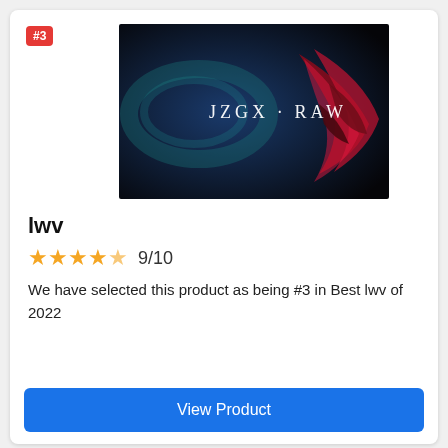[Figure (photo): Dark artistic product image with text 'JZGX · RAW' in white letters on a dark blue/black background with red artistic swirls]
lwv
★★★★½  9/10
We have selected this product as being #3 in Best lwv of 2022
View Product